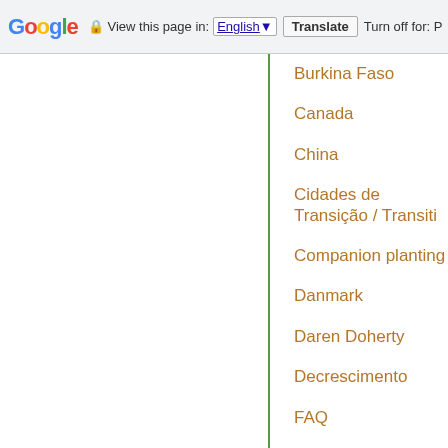Google | View this page in: English | Translate | Turn off for: P
Burkina Faso
Canada
China
Cidades de Transição / Transiti
Companion planting
Danmark
Daren Doherty
Decrescimento
FAQ
FMI
Fernanda Botelho
France;Natural